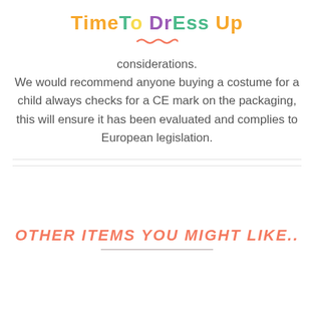Time To DrEss Up
considerations.
We would recommend anyone buying a costume for a child always checks for a CE mark on the packaging, this will ensure it has been evaluated and complies to European legislation.
OTHER ITEMS YOU MIGHT LIKE..